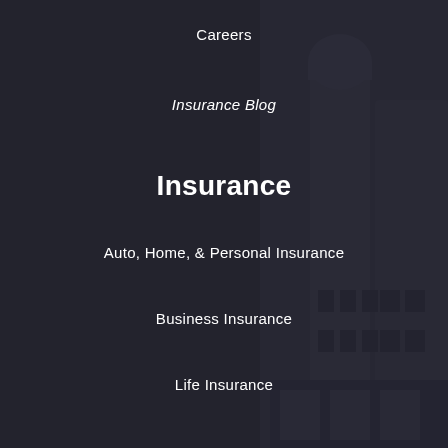Careers
Insurance Blog
Insurance
Auto, Home, & Personal Insurance
Business Insurance
Life Insurance
Policy Service